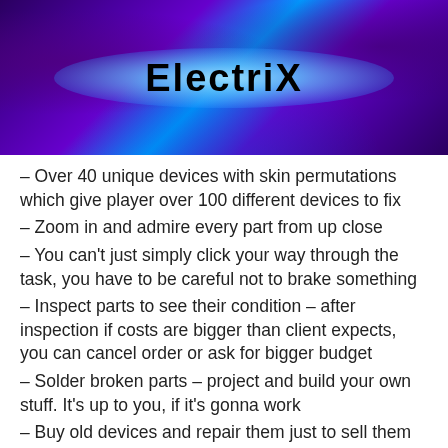[Figure (illustration): Banner image with purple/blue glowing background showing electronics workshop scene, with 'ElectriX' text logo in the center]
– Over 40 unique devices with skin permutations which give player over 100 different devices to fix
– Zoom in and admire every part from up close
– You can't just simply click your way through the task, you have to be careful not to brake something
– Inspect parts to see their condition – after inspection if costs are bigger than client expects, you can cancel order or ask for bigger budget
– Solder broken parts – project and build your own stuff. It's up to you, if it's gonna work
– Buy old devices and repair them just to sell them for a better price
– Buy broken electronics and scrap them for parts to use it